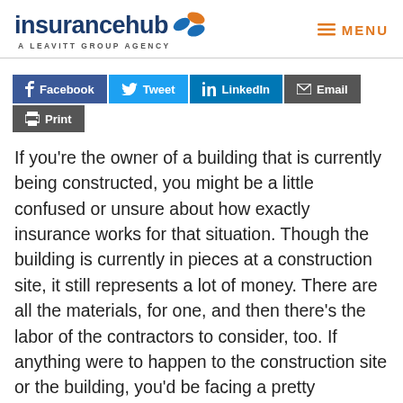insurancehub A LEAVITT GROUP AGENCY
[Figure (logo): InsuranceHub logo with orange and blue circular icon, subtitle 'A LEAVITT GROUP AGENCY']
Facebook  Tweet  LinkedIn  Email  Print
If you're the owner of a building that is currently being constructed, you might be a little confused or unsure about how exactly insurance works for that situation. Though the building is currently in pieces at a construction site, it still represents a lot of money. There are all the materials, for one, and then there's the labor of the contractors to consider, too. If anything were to happen to the construction site or the building, you'd be facing a pretty significant loss. But that's why builder's risk insurance exists. What's